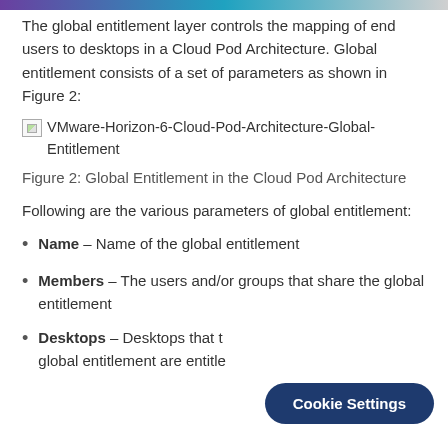The global entitlement layer controls the mapping of end users to desktops in a Cloud Pod Architecture. Global entitlement consists of a set of parameters as shown in Figure 2:
[Figure (illustration): Broken image placeholder for VMware-Horizon-6-Cloud-Pod-Architecture-Global-Entitlement]
Figure 2: Global Entitlement in the Cloud Pod Architecture
Following are the various parameters of global entitlement:
Name – Name of the global entitlement
Members – The users and/or groups that share the global entitlement
Desktops – Desktops that the global entitlement are entitled...